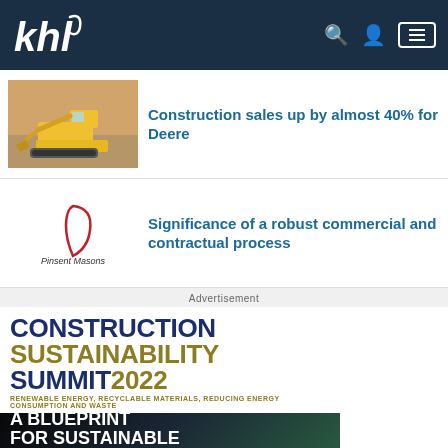khl
Construction sales up by almost 40% for Deere
Significance of a robust commercial and contractual process
Advertisement
CONSTRUCTION SUSTAINABILITY SUMMIT 2022
RENEWABLE ENERGY, RECYCLABLE MATERIALS, REDUCING ENERGY CONSUMPTION AND WASTE
A BLUEPRINT FOR SUSTAINABLE CONSTRUCTION